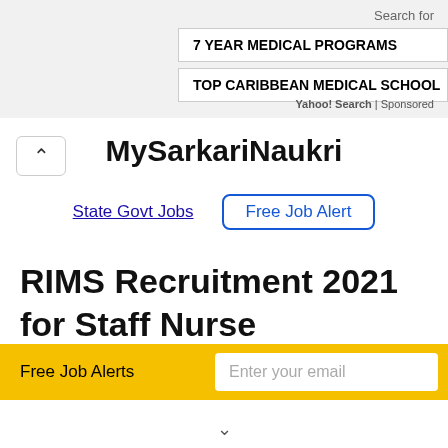Search for
7 YEAR MEDICAL PROGRAMS
TOP CARIBBEAN MEDICAL SCHOOL
Yahoo! Search | Sponsored
MySarkariNaukri
State Govt Jobs
Free Job Alert
RIMS Recruitment 2021 for Staff Nurse
Free Job Alerts
Enter your email